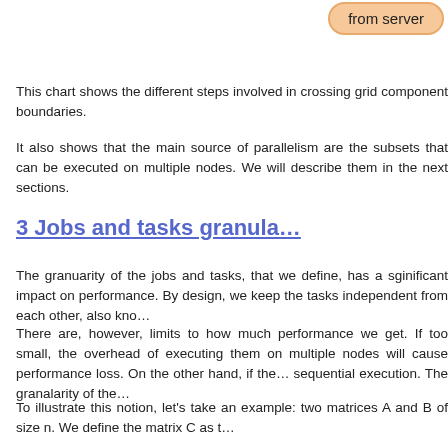[Figure (infographic): Orange rounded bubble/callout shape with text 'from server' visible at top right of page]
This chart shows the different steps involved in crossing grid component boundaries.
It also shows that the main source of parallelism are the subsets that can be executed on multiple nodes. We will describe them in the next sections.
3 Jobs and tasks granula…
The granuarity of the jobs and tasks, that we define, has a sginificant impact on performance. By design, we keep the tasks independent from each other, also kno…
There are, however, limits to how much performance we get. If too small, the overhead of executing them on multiple nodes will cause performance loss. On the other hand, if the… sequential execution. The granalarity of the…
To illustrate this notion, let's take an example: two matrices A and B of size n. We define the matrix C as t…